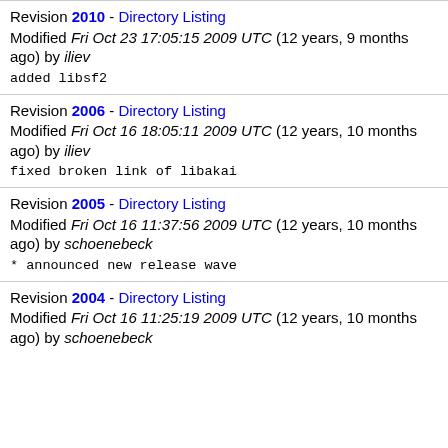Revision 2010 - Directory Listing
Modified Fri Oct 23 17:05:15 2009 UTC (12 years, 9 months ago) by iliev
added libsf2
Revision 2006 - Directory Listing
Modified Fri Oct 16 18:05:11 2009 UTC (12 years, 10 months ago) by iliev
fixed broken link of libakai
Revision 2005 - Directory Listing
Modified Fri Oct 16 11:37:56 2009 UTC (12 years, 10 months ago) by schoenebeck
* announced new release wave
Revision 2004 - Directory Listing
Modified Fri Oct 16 11:25:19 2009 UTC (12 years, 10 months ago) by schoenebeck